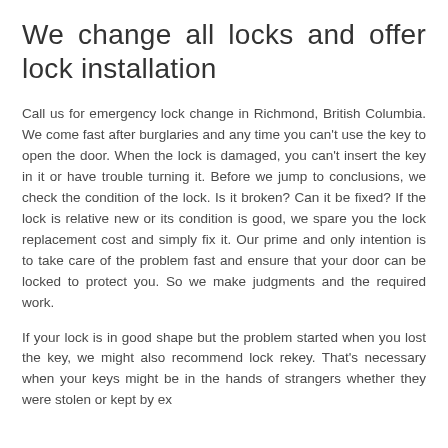We change all locks and offer lock installation
Call us for emergency lock change in Richmond, British Columbia. We come fast after burglaries and any time you can't use the key to open the door. When the lock is damaged, you can't insert the key in it or have trouble turning it. Before we jump to conclusions, we check the condition of the lock. Is it broken? Can it be fixed? If the lock is relative new or its condition is good, we spare you the lock replacement cost and simply fix it. Our prime and only intention is to take care of the problem fast and ensure that your door can be locked to protect you. So we make judgments and the required work.
If your lock is in good shape but the problem started when you lost the key, we might also recommend lock rekey. That's necessary when your keys might be in the hands of strangers whether they were stolen or kept by ex…